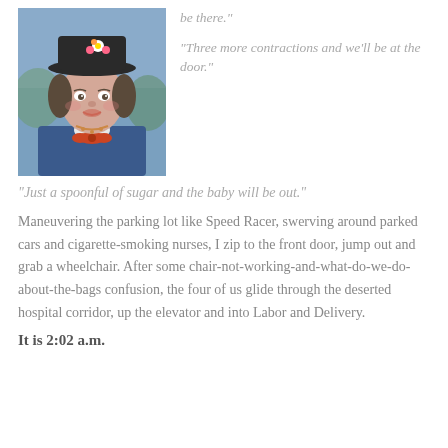[Figure (photo): Photo of a woman dressed as Mary Poppins character, wearing a dark hat with flowers, blue coat, and red bow at neck.]
“be there.”
“Three more contractions and we’ll be at the door.”
“Just a spoonful of sugar and the baby will be out.”
Maneuvering the parking lot like Speed Racer, swerving around parked cars and cigarette-smoking nurses, I zip to the front door, jump out and grab a wheelchair. After some chair-not-working-and-what-do-we-do-about-the-bags confusion, the four of us glide through the deserted hospital corridor, up the elevator and into Labor and Delivery.
It is 2:02 a.m.